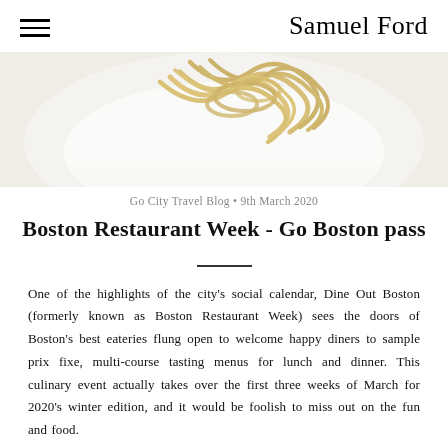Samuel Ford
[Figure (photo): Close-up photo of pasta (noodles) on a white plate, partially cropped at the top of the page]
Go City Travel Blog • 9th March 2020
Boston Restaurant Week - Go Boston pass
One of the highlights of the city's social calendar, Dine Out Boston (formerly known as Boston Restaurant Week) sees the doors of Boston's best eateries flung open to welcome happy diners to sample prix fixe, multi-course tasting menus for lunch and dinner. This culinary event actually takes over the first three weeks of March for 2020's winter edition, and it would be foolish to miss out on the fun and food.